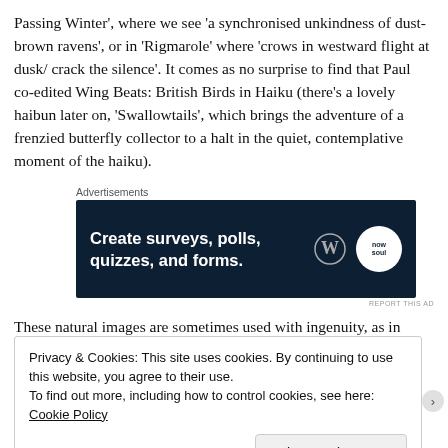Passing Winter', where we see 'a synchronised unkindness of dust-brown ravens', or in 'Rigmarole' where 'crows in westward flight at dusk/ crack the silence'. It comes as no surprise to find that Paul co-edited Wing Beats: British Birds in Haiku (there's a lovely haibun later on, 'Swallowtails', which brings the adventure of a frenzied butterfly collector to a halt in the quiet, contemplative moment of the haiku).
[Figure (other): Advertisement banner: dark navy background with bold white text reading 'Create surveys, polls, quizzes, and forms.' with WordPress logo and circular 'now soul' badge on the right.]
These natural images are sometimes used with ingenuity, as in
Privacy & Cookies: This site uses cookies. By continuing to use this website, you agree to their use.
To find out more, including how to control cookies, see here: Cookie Policy